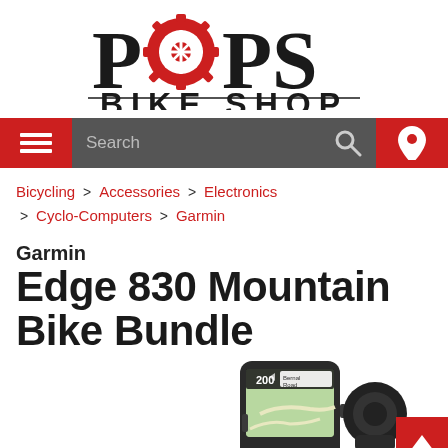[Figure (logo): Pops Bike Shop logo with gear icon in red replacing the letter O in POPS, and 'BIKE SHOP' text below with underline]
[Figure (screenshot): Navigation bar with red hamburger menu on left, grey search bar with magnifier icon in center, and red location pin icon on right]
Bicycling > Accessories > Electronics > Cyclo-Computers > Garmin
Garmin
Edge 830 Mountain Bike Bundle
[Figure (photo): Partial photo of Garmin Edge 830 device showing map display reading '200' and 'Bernal Road', alongside a black mount accessory]